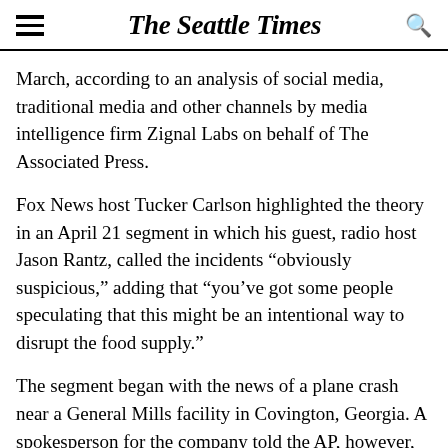The Seattle Times
March, according to an analysis of social media, traditional media and other channels by media intelligence firm Zignal Labs on behalf of The Associated Press.
Fox News host Tucker Carlson highlighted the theory in an April 21 segment in which his guest, radio host Jason Rantz, called the incidents “obviously suspicious,” adding that “you’ve got some people speculating that this might be an intentional way to disrupt the food supply.”
The segment began with the news of a plane crash near a General Mills facility in Covington, Georgia. A spokesperson for the company told the AP, however, that the plant, which manufactures cereal and